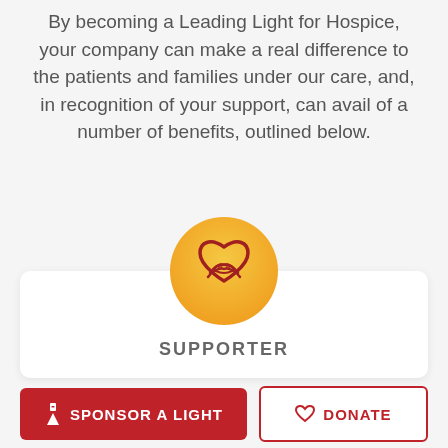By becoming a Leading Light for Hospice, your company can make a real difference to the patients and families under our care, and, in recognition of your support, can avail of a number of benefits, outlined below.
[Figure (illustration): Orange circle with a dark red heart/handshake icon inside, used as a card header icon for the Supporter tier]
SUPPORTER
SPONSOR A LIGHT
DONATE